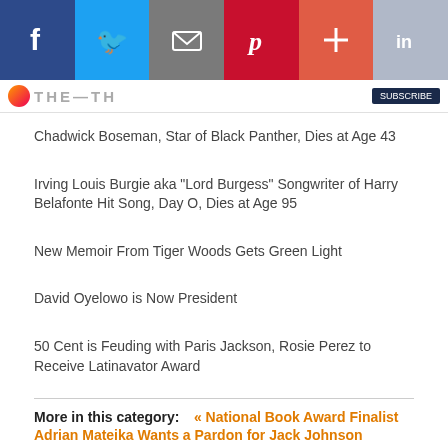[Figure (infographic): Social sharing bar with Facebook, Twitter, Email, Pinterest, Plus, and LinkedIn buttons]
[Figure (logo): Website logo with orange/red circle and stylized text, plus subscribe button]
Chadwick Boseman, Star of Black Panther, Dies at Age 43
Irving Louis Burgie aka "Lord Burgess" Songwriter of Harry Belafonte Hit Song, Day O, Dies at Age 95
New Memoir From Tiger Woods Gets Green Light
David Oyelowo is Now President
50 Cent is Feuding with Paris Jackson, Rosie Perez to Receive Latinavator Award
More in this category:
« National Book Award Finalist Adrian Mateika Wants a Pardon for Jack Johnson